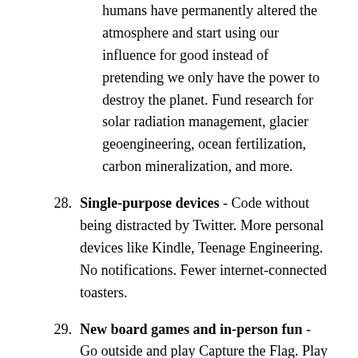humans have permanently altered the atmosphere and start using our influence for good instead of pretending we only have the power to destroy the planet. Fund research for solar radiation management, glacier geoengineering, ocean fertilization, carbon mineralization, and more.
28. Single-purpose devices - Code without being distracted by Twitter. More personal devices like Kindle, Teenage Engineering. No notifications. Fewer internet-connected toasters.
29. New board games and in-person fun - Go outside and play Capture the Flag. Play board games with your friends, Terraforming Mars. New sports, adventure races, engineering challenges, cardboard boat races.
30. Silvopasture and permaculture - Beautiful and effective. Agriculture that is good for the soil. Graze